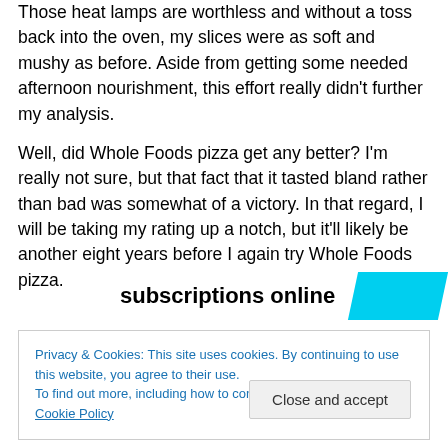Those heat lamps are worthless and without a toss back into the oven, my slices were as soft and mushy as before. Aside from getting some needed afternoon nourishment, this effort really didn't further my analysis.
Well, did Whole Foods pizza get any better? I'm really not sure, but that fact that it tasted bland rather than bad was somewhat of a victory. In that regard, I will be taking my rating up a notch, but it'll likely be another eight years before I again try Whole Foods pizza.
[Figure (other): Advertisement banner with bold text 'subscriptions online' and a cyan/blue parallelogram shape to the right]
Privacy & Cookies: This site uses cookies. By continuing to use this website, you agree to their use. To find out more, including how to control cookies, see here: Cookie Policy
Close and accept